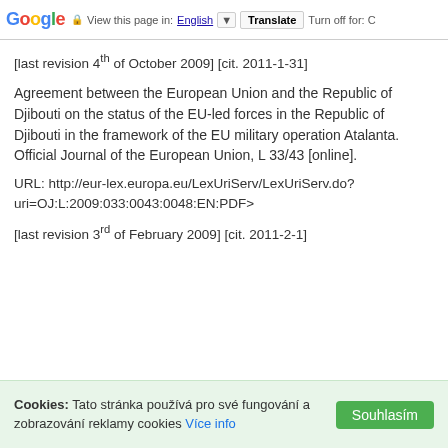Google | View this page in: English | Translate | Turn off for: C
[last revision 4th of October 2009] [cit. 2011-1-31]
Agreement between the European Union and the Republic of Djibouti on the status of the EU-led forces in the Republic of Djibouti in the framework of the EU military operation Atalanta. Official Journal of the European Union, L 33/43 [online].
URL: http://eur-lex.europa.eu/LexUriServ/LexUriServ.do?uri=OJ:L:2009:033:0043:0048:EN:PDF>
[last revision 3rd of February 2009] [cit. 2011-2-1]
Cookies: Tato stránka používá pro své fungování a zobrazování reklamy cookies Více info Souhlasím